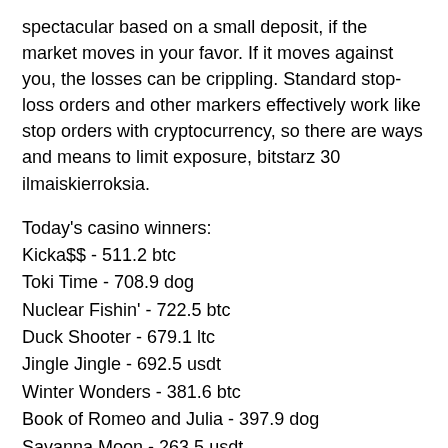spectacular based on a small deposit, if the market moves in your favor. If it moves against you, the losses can be crippling. Standard stop-loss orders and other markers effectively work like stop orders with cryptocurrency, so there are ways and means to limit exposure, bitstarz 30 ilmaiskierroksia.
Today's casino winners:
Kicka$$ - 511.2 btc
Toki Time - 708.9 dog
Nuclear Fishin' - 722.5 btc
Duck Shooter - 679.1 ltc
Jingle Jingle - 692.5 usdt
Winter Wonders - 381.6 btc
Book of Romeo and Julia - 397.9 dog
Savanna Moon - 263.5 usdt
Transylvanian Beauty - 260.3 dog
Bells on Fire Rombo - 103.5 ltc
Lady of Fortune - 39.2 usdt